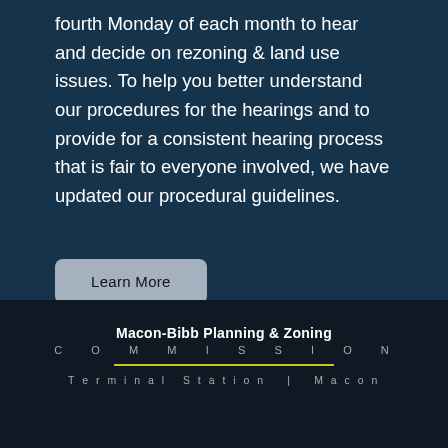fourth Monday of each month to hear and decide on rezoning & land use issues. To help you better understand our procedures for the hearings and to provide for a consistent hearing process that is fair to everyone involved, we have updated our procedural guidelines.
Learn More
Macon-Bibb Planning & Zoning COMMISSION
Terminal Station  |  Macon